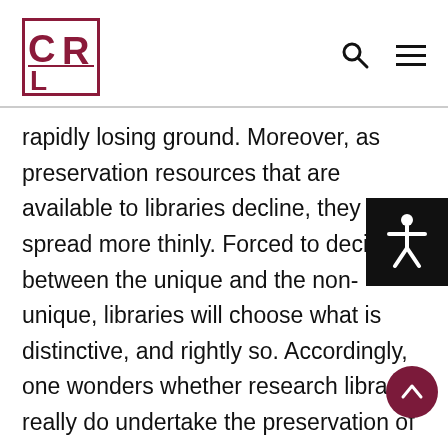CLR logo, search icon, hamburger menu
rapidly losing ground. Moreover, as preservation resources that are available to libraries decline, they are spread more thinly. Forced to decide between the unique and the non-unique, libraries will choose what is distinctive, and rightly so. Accordingly, one wonders whether research libraries really do undertake the preservation of non-unique materials as a matter of mission. History suggests that libraries’ efforts to preserve non-unique materials are episodic, infrequent, and poorly supported. In this light, the crisis of library preservation that has received so much attention lately is less a crisis than it is a reflection